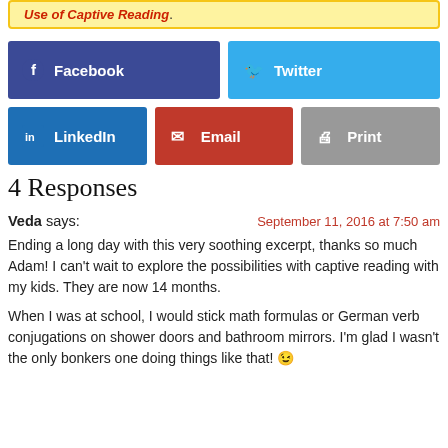Use of Captive Reading.
[Figure (infographic): Social share buttons: Facebook, Twitter, LinkedIn, Email, Print]
4 Responses
Veda says:
September 11, 2016 at 7:50 am
Ending a long day with this very soothing excerpt, thanks so much Adam! I can't wait to explore the possibilities with captive reading with my kids. They are now 14 months.
When I was at school, I would stick math formulas or German verb conjugations on shower doors and bathroom mirrors. I'm glad I wasn't the only bonkers one doing things like that! 😉